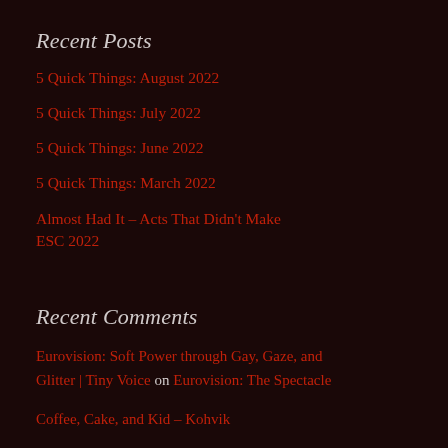Recent Posts
5 Quick Things: August 2022
5 Quick Things: July 2022
5 Quick Things: June 2022
5 Quick Things: March 2022
Almost Had It – Acts That Didn't Make ESC 2022
Recent Comments
Eurovision: Soft Power through Gay, Gaze, and Glitter | Tiny Voice on Eurovision: The Spectacle
Coffee, Cake, and Kid – Kohvik